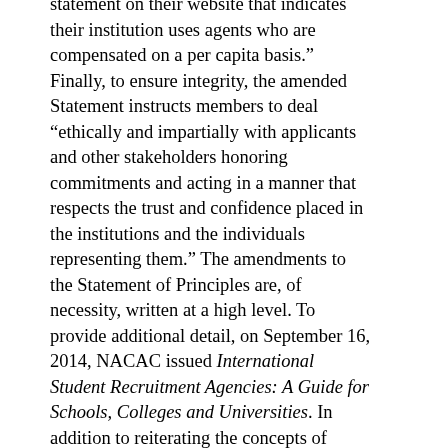statement on their website that indicates their institution uses agents who are compensated on a per capita basis.”  Finally, to ensure integrity, the amended Statement instructs members to deal “ethically and impartially with applicants and other stakeholders honoring commitments and acting in a manner that respects the trust and confidence placed in the institutions and the individuals representing them.” The amendments to the Statement of Principles are, of necessity, written at a high level.  To provide additional detail, on September 16, 2014, NACAC issued International Student Recruitment Agencies: A Guide for Schools, Colleges and Universities. In addition to reiterating the concepts of accountability, transparency and integrity embodied in the amended Statement, the Guide provides a number of suggested best practices for contracting with commission-based recruiting agents.  These include: